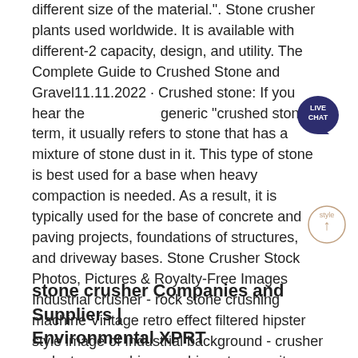different size of the material.". Stone crusher plants used worldwide. It is available with different-2 capacity, design, and utility. The Complete Guide to Crushed Stone and Gravel11.11.2022 · Crushed stone: If you hear the generic "crushed stone" term, it usually refers to stone that has a mixture of stone dust in it. This type of stone is best used for a base when heavy compaction is needed. As a result, it is typically used for the base of concrete and paving projects, foundations of structures, and driveway bases. Stone Crusher Stock Photos, Pictures & Royalty-Free Images Industrial crusher - rock stone crushing machine Vintage retro effect filtered hipster style image of Industrial background - crusher rock stone crushing machine at open pit mining and processing plant for crushed stone, sand and gravel stone crusher stock pictures, royalty-free photos & images
[Figure (other): Live Chat speech bubble badge icon (dark navy circle with LIVE CHAT text)]
[Figure (other): Scroll to top circular button with upward arrow]
stone crusher Companies and Suppliers | Environmental XPRT